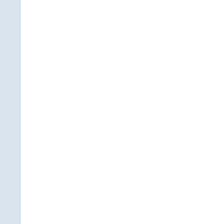of strength, endurance... includes nutrition.
For further details on any of the
Sports First
Services
Physical Therapy  |  Sports Massage  |  Frequency Specific Microcurrent  |  B
© 2010 Anatomy Physical Therapy. All Rights Reserved.